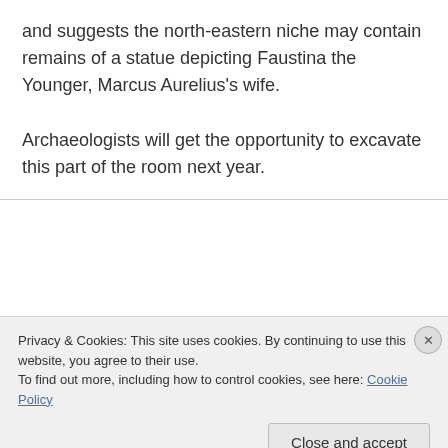and suggests the north-eastern niche may contain remains of a statue depicting Faustina the Younger, Marcus Aurelius's wife.
Archaeologists will get the opportunity to excavate this part of the room next year.
[Figure (photo): Archaeological excavation site showing stone ruins in sandy/earthy terrain]
Privacy & Cookies: This site uses cookies. By continuing to use this website, you agree to their use.
To find out more, including how to control cookies, see here: Cookie Policy